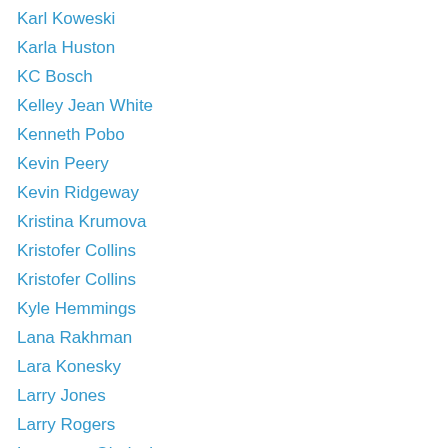Karl Koweski
Karla Huston
KC Bosch
Kelley Jean White
Kenneth Pobo
Kevin Peery
Kevin Ridgeway
Kristina Krumova
Kristofer Collins
Kristofer Collins
Kyle Hemmings
Lana Rakhman
Lara Konesky
Larry Jones
Larry Rogers
Lawrence Gladeview
Leah Mueller
Len Kuntz
Linda Lerner
Linda Lowe